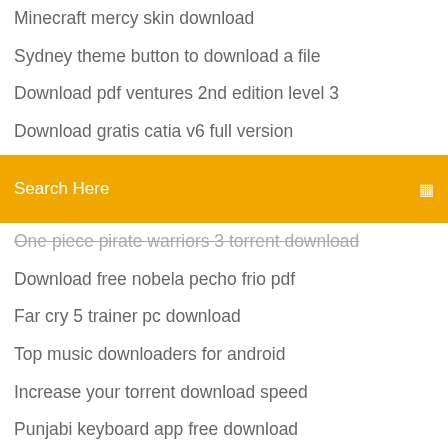Minecraft mercy skin download
Sydney theme button to download a file
Download pdf ventures 2nd edition level 3
Download gratis catia v6 full version
Fun games to download for free on pc
Christmas office party torrent download
[Figure (screenshot): Orange search bar with text 'Search Here' and a small icon on the right]
One piece pirate warriors 3 torrent download
Download free nobela pecho frio pdf
Far cry 5 trainer pc download
Top music downloaders for android
Increase your torrent download speed
Punjabi keyboard app free download
How to download apps from apple on computer
Lightning component download pdf
Fun games for arc welder btd5 apk download
Free download google map for pc
Skin seed for minecraft pc download